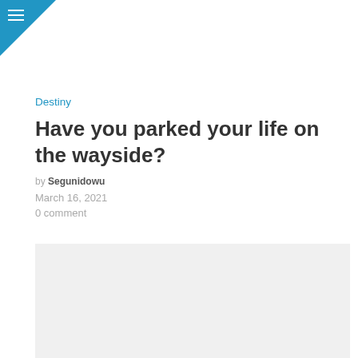≡
Destiny
Have you parked your life on the wayside?
by Segunidowu
March 16, 2021
0 comment
[Figure (photo): Featured image placeholder (light gray rectangle)]